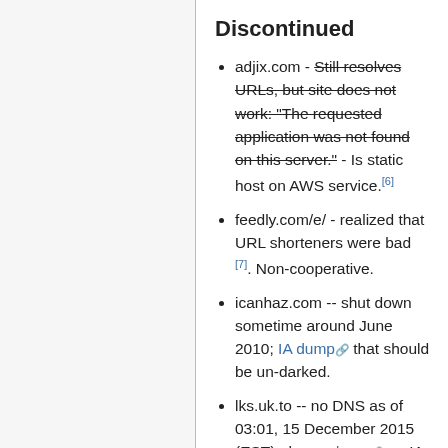Discontinued
adjix.com - Still resolves URLs, but site does not work: "The requested application was not found on this server." - Is static host on AWS service.[6]
feedly.com/e/ - realized that URL shorteners were bad [7]. Non-cooperative.
icanhaz.com -- shut down sometime around June 2010; IA dump that should be un-darked.
lks.uk.to -- no DNS as of 03:01, 15 December 2015 (EST) ; has a dump on IA in 301Works; need to ping them about un-darking it.
metamark.net / xrl.us - no longer allowing new urls to be shortened, existing urls still work (Ex.